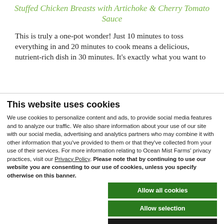Stuffed Chicken Breasts with Artichoke & Cherry Tomato Sauce
This is truly a one-pot wonder! Just 10 minutes to toss everything in and 20 minutes to cook means a delicious, nutrient-rich dish in 30 minutes. It's exactly what you want to...
This website uses cookies
We use cookies to personalize content and ads, to provide social media features and to analyze our traffic. We also share information about your use of our site with our social media, advertising and analytics partners who may combine it with other information that you've provided to them or that they've collected from your use of their services. For more information relating to Ocean Mist Farms' privacy practices, visit our Privacy Policy. Please note that by continuing to use our website you are consenting to our use of cookies, unless you specify otherwise on this banner.
Allow all cookies
Allow selection
Use necessary cookies only
Necessary | Preferences | Statistics | Marketing | Show details